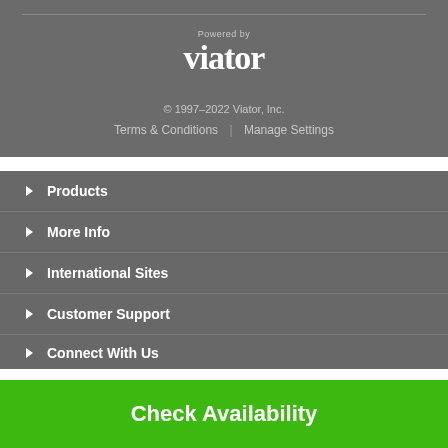[Figure (logo): Viator logo with 'Powered by' text above it]
© 1997–2022 Viator, Inc.
Terms & Conditions | Manage Settings
Products
More Info
International Sites
Customer Support
Connect With Us
Check Availability